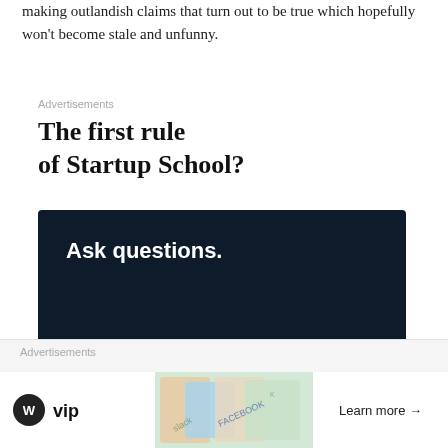making outlandish claims that turn out to be true which hopefully won't become stale and unfunny.
Advertisements
The first rule of Startup School?
[Figure (screenshot): Dark navy blue advertisement box with white text 'Ask questions.' and a pink 'Start a survey' button, plus WordPress and SurveyMonkey logos at bottom right.]
REPORT THIS AD
[Figure (screenshot): Close button (circled X) on right side]
Advertisements
[Figure (screenshot): Bottom advertisement strip showing WordPress VIP logo on left, colorful social media card images in the middle, and a 'Learn more →' button on the right.]